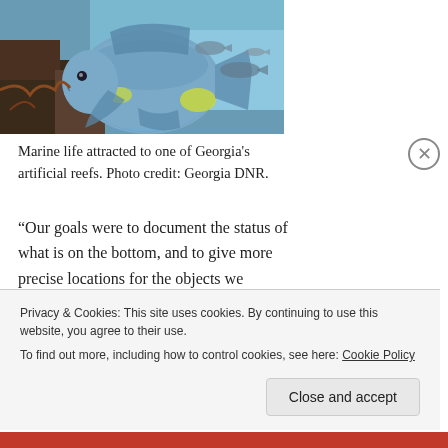[Figure (photo): Underwater photograph of a blue/silver angelfish with yellow markings near coral reef, with other fish visible in the background. Georgia's artificial reef.]
Marine life attracted to one of Georgia's artificial reefs. Photo credit: Georgia DNR.
“Our goals were to document the status of what is on the bottom, and to give more precise locations for the objects we identify,” Alexander said. “We used real-time kinematic GPS, so we know within a few centimeters